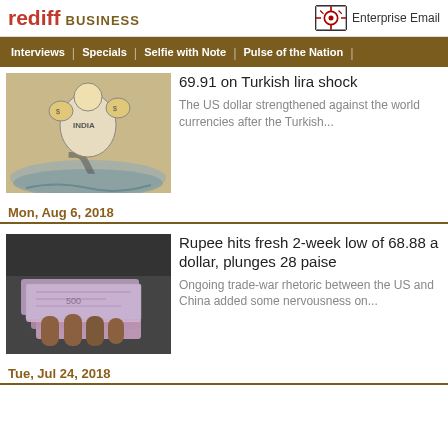rediff BUSINESS | Enterprise Email
Interviews | Specials | Selfie with Note | Pulse of the Nation
[Figure (illustration): Cartoon illustration of India with rupee symbol sinking]
69.91 on Turkish lira shock
The US dollar strengthened against the world currencies after the Turkish...
Mon, Aug 6, 2018
[Figure (photo): Photo of Indian rupee banknotes being held in hands]
Rupee hits fresh 2-week low of 68.88 a dollar, plunges 28 paise
Ongoing trade-war rhetoric between the US and China added some nervousness on...
Tue, Jul 24, 2018